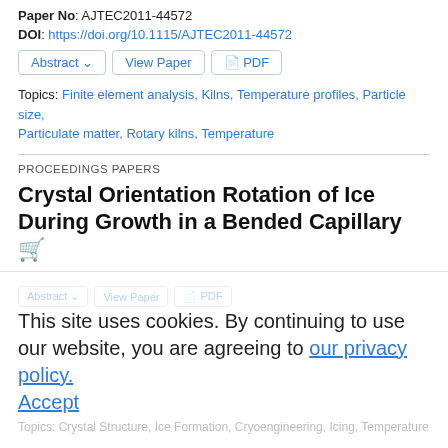Paper No: AJTEC2011-44572
DOI: https://doi.org/10.1115/AJTEC2011-44572
Abstract  View Paper  PDF
Topics: Finite element analysis, Kilns, Temperature profiles, Particle size, Particulate matter, Rotary kilns, Temperature
PROCEEDINGS PAPERS
Crystal Orientation Rotation of Ice During Growth in a Bended Capillary
Yoshikazu Teraoka, Ryo Fukuno, Koji Matsumoto
Proc. ASME. AJTEC2011, ASME/JSME 2011 8th Thermal Engineering Joint Conference, T10233, March 13–17, 2011
Paper No: AJTEC2011-44367
DOI: https://doi.org/10.1115/AJTEC2011-44367
This site uses cookies. By continuing to use our website, you are agreeing to our privacy policy. Accept